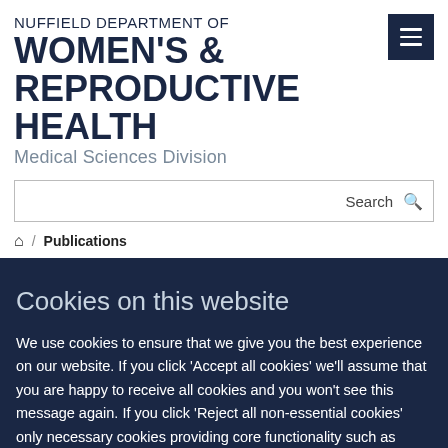NUFFIELD DEPARTMENT OF WOMEN'S & REPRODUCTIVE HEALTH Medical Sciences Division
Search
Home / Publications
Cookies on this website
We use cookies to ensure that we give you the best experience on our website. If you click 'Accept all cookies' we'll assume that you are happy to receive all cookies and you won't see this message again. If you click 'Reject all non-essential cookies' only necessary cookies providing core functionality such as security, network management, and accessibility will be enabled. Click 'Find out more' for information on how to change your cookie settings.